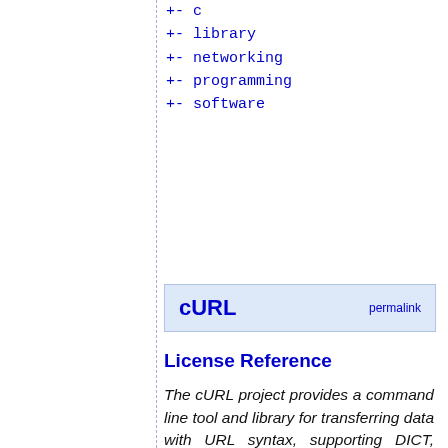+- c
+- library
+- networking
+- programming
+- software
cURL  permalink
License Reference
The cURL project provides a command line tool and library for transferring data with URL syntax, supporting DICT, FILE, FTP, FTPS, GOPHER, GOPHERS, HTTP, HTTPS, IMAP, IMAPS, LDAP, LDAPS, MQTT, POP3, POP3S, RTMP, RTMPS, RTSP, SCP, SFTP, SMB, SMBS, SMTP, SMTPS, TELNET...